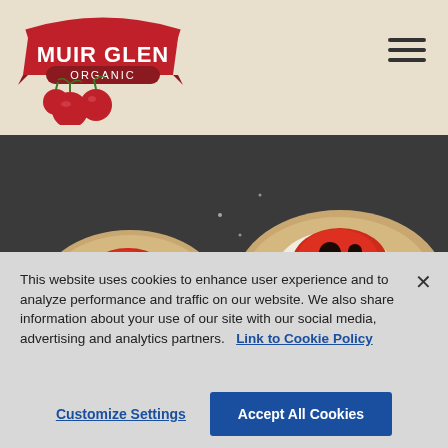[Figure (logo): Muir Glen Organic logo with red banner and tomatoes]
[Figure (photo): Food photo showing open-faced bruschetta or sandwiches topped with tomato sauce and arugula on a dark surface]
This website uses cookies to enhance user experience and to analyze performance and traffic on our website. We also share information about your use of our site with our social media, advertising and analytics partners. Link to Cookie Policy
Customize Settings
Accept All Cookies